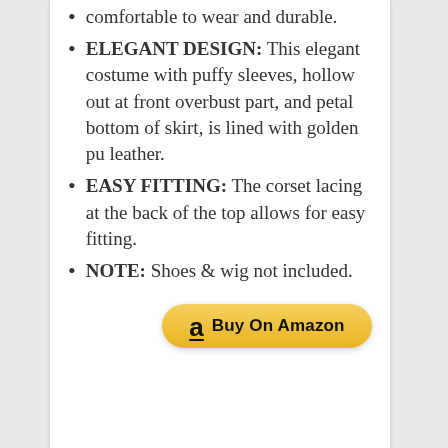comfortable to wear and durable.
ELEGANT DESIGN: This elegant costume with puffy sleeves, hollow out at front overbust part, and petal bottom of skirt, is lined with golden pu leather.
EASY FITTING: The corset lacing at the back of the top allows for easy fitting.
NOTE: Shoes & wig not included.
[Figure (other): Buy On Amazon button with Amazon logo]